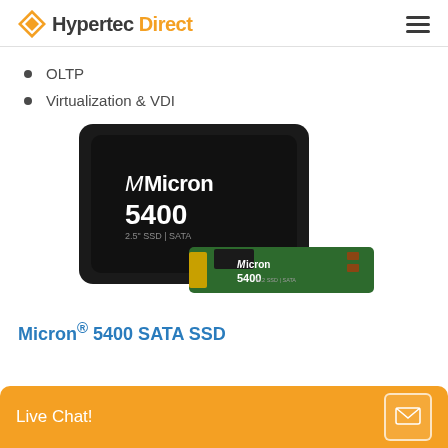Hypertec Direct
OLTP
Virtualization & VDI
[Figure (photo): Micron 5400 SATA SSD product photo showing a 2.5-inch SSD with black casing labeled 'Micron 5400 2.5" SSD | SATA' and an M.2 form factor drive labeled 'Micron 5400']
Micron® 5400 SATA SSD
Live Chat!